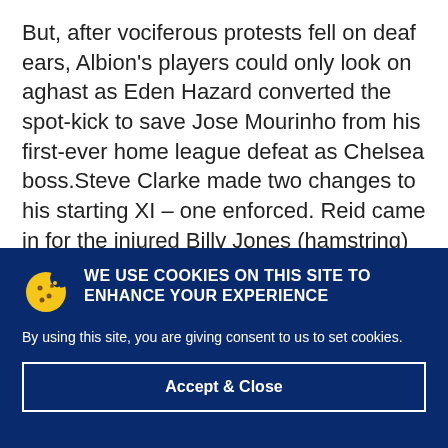But, after vociferous protests fell on deaf ears, Albion's players could only look on aghast as Eden Hazard converted the spot-kick to save Jose Mourinho from his first-ever home league defeat as Chelsea boss.Steve Clarke made two changes to his starting XI – one enforced. Reid came in for the injured Billy Jones (hamstring) at right-
[Figure (other): Cookie consent banner with dark navy background. Contains a cookie icon (yellow), bold white uppercase text 'WE USE COOKIES ON THIS SITE TO ENHANCE YOUR EXPERIENCE', body text 'By using this site, you are giving consent to us to set cookies.', and an 'Accept & Close' button with white border.]